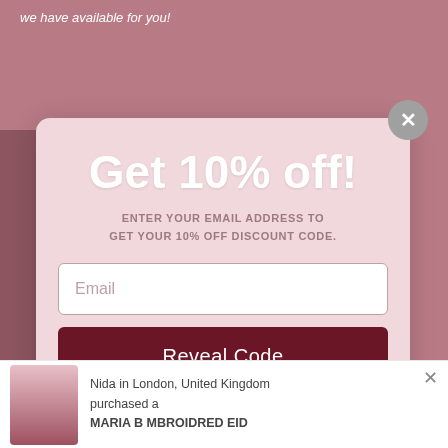we have available for you!
Get 10% off!
ENTER YOUR EMAIL ADDRESS TO GET YOUR 10% OFF DISCOUNT CODE.
Email
Reveal Code
Nida in London, United Kingdom purchased a MARIA B MBROIDRED EID